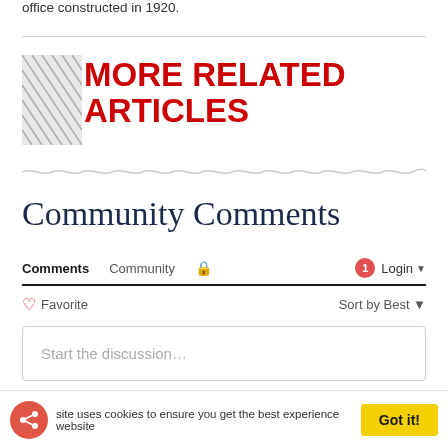office constructed in 1920.
MORE RELATED ARTICLES
Community Comments
Comments  Community  🔒  1  Login
♡ Favorite   Sort by Best ▾
Start the discussion...
LOG IN WITH
This site uses cookies to ensure you get the best experience on our website